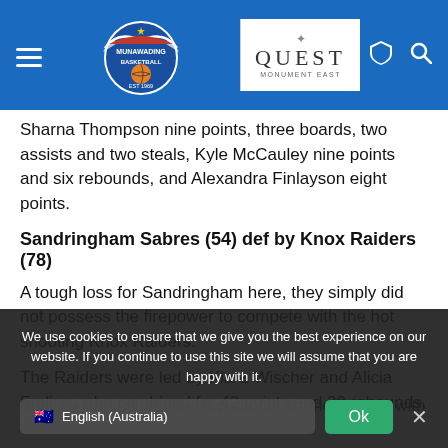[Figure (screenshot): Munawading Basketball website navigation bar with blue background, hamburger menu, team logo, Quest sponsor logo, shield icon, and search icon]
Sharna Thompson nine points, three boards, two assists and two steals, Kyle McCauley nine points and six rebounds, and Alexandra Finlayson eight points.
Sandringham Sabres (54) def by Knox Raiders (78)
A tough loss for Sandringham here, they simply did not possess the firepower to compete with the hot shooting Knox Raiders.
The Raiders were led by Klara Wischer and Alicia Froling, who combined for 42 points and 20 rebounds.
Brittney Santos was the top scorer for the Sabres with 14 ...
We use cookies to ensure that we give you the best experience on our website. If you continue to use this site we will assume that you are happy with it.